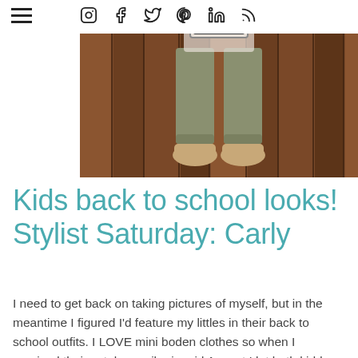≡ Instagram Facebook Twitter Pinterest LinkedIn RSS
[Figure (photo): A child wearing olive/khaki jogger pants and tan boots standing on wooden floor boards, holding a framed chalkboard sign. Only the lower body is visible.]
Kids back to school looks! Stylist Saturday: Carly
I need to get back on taking pictures of myself, but in the meantime I figured I'd feature my littles in their back to school outfits. I LOVE mini boden clothes so when I received their catalog mailer in mid August I let both kiddos pick out something they loved. Anna went right